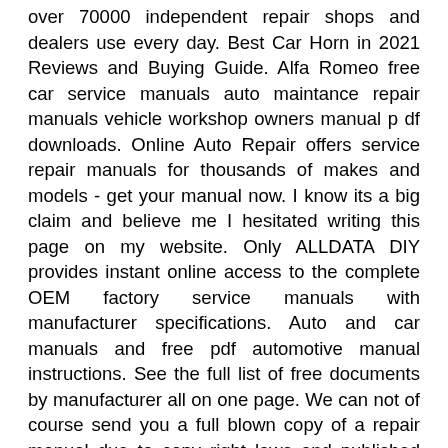over 70000 independent repair shops and dealers use every day. Best Car Horn in 2021 Reviews and Buying Guide. Alfa Romeo free car service manuals auto maintance repair manuals vehicle workshop owners manual p df downloads. Online Auto Repair offers service repair manuals for thousands of makes and models - get your manual now. I know its a big claim and believe me I hesitated writing this page on my website. Only ALLDATA DIY provides instant online access to the complete OEM factory service manuals with manufacturer specifications. Auto and car manuals and free pdf automotive manual instructions. See the full list of free documents by manufacturer all on one page. We can not of course send you a full blown copy of a repair manual due to copy right laws and published disapproval. CarManualsOnlineinfo offers free access to Owners Manuals and Service Manuals of all car manufacturers. You Fix Cars offers auto truck SUV